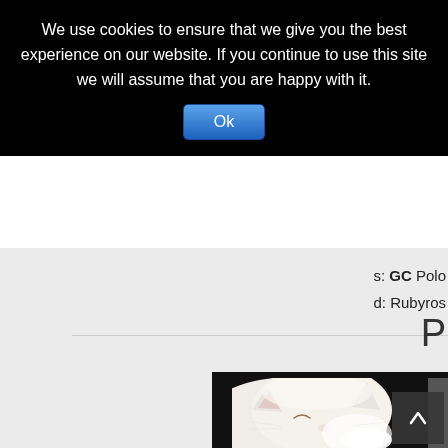We use cookies to ensure that we give you the best experience on our website. If you continue to use this site we will assume that you are happy with it.
Ok
s: GC Polo d: Rubyros
[Figure (photo): A white fluffy kitten with eyes closed, photographed against a dark/black background. A scroll-to-top button (dark square with upward arrow) is visible in the bottom right of the image.]